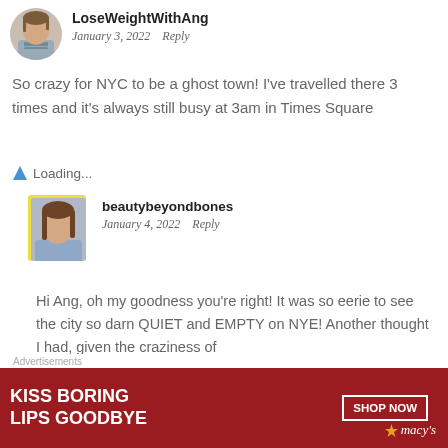[Figure (photo): Profile photo of LoseWeightWithAng - woman in gray striped shirt]
LoseWeightWithAng
January 3, 2022   Reply
So crazy for NYC to be a ghost town! I've travelled there 3 times and it's always still busy at 3am in Times Square
Loading...
[Figure (photo): Profile photo of beautybeyondbones - woman with long brown hair in blue top]
beautybeyondbones
January 4, 2022   Reply
Hi Ang, oh my goodness you're right! It was so eerie to see the city so darn QUIET and EMPTY on NYE! Another thought I had, given the craziness of
Advertisements
[Figure (other): Macy's advertisement banner: KISS BORING LIPS GOODBYE with SHOP NOW button and Macy's logo on dark red background]